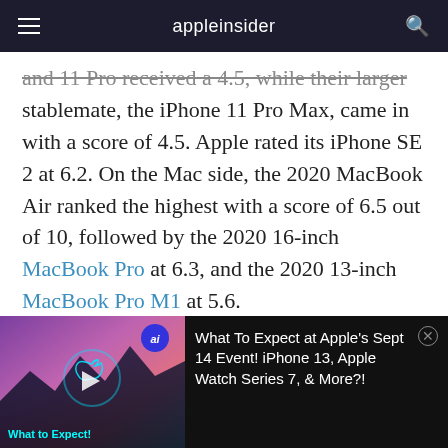appleinsider
and 11 Pro received a 4.5, while their larger stablemate, the iPhone 11 Pro Max, came in with a score of 4.5. Apple rated its iPhone SE 2 at 6.2. On the Mac side, the 2020 MacBook Air ranked the highest with a score of 6.5 out of 10, followed by the 2020 16-inch MacBook Pro at 6.3, and the 2020 13-inch MacBook Pro M1 at 5.6.

Apple has generated repair indexes for iPhone 12
[Figure (screenshot): Advertisement banner showing Apple event promotional image with glowing Apple logo on a purple/pink gradient background, with 'What to Expect!' text in cyan. Overlaid text reads: 'What To Expect at Apple's Sept 14 Event! iPhone 13, Apple Watch Series 7, & More?!']